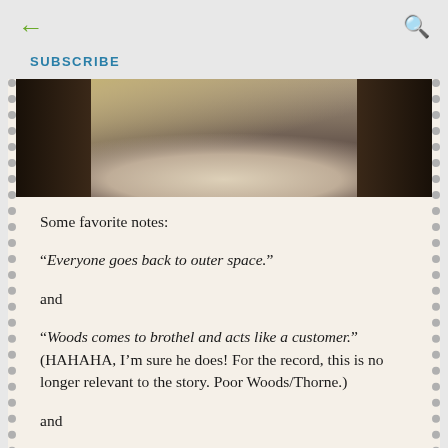← SUBSCRIBE 🔍
[Figure (photo): Close-up photo of what appears to be the spine or cover of an open book, showing fabric texture with wooden frame elements visible at the edges.]
Some favorite notes:
“Everyone goes back to outer space.”
and
“Woods comes to brothel and acts like a customer.” (HAHAHA, I’m sure he does! For the record, this is no longer relevant to the story. Poor Woods/Thorne.)
and
“In general, need more fear mongering of Levana.”